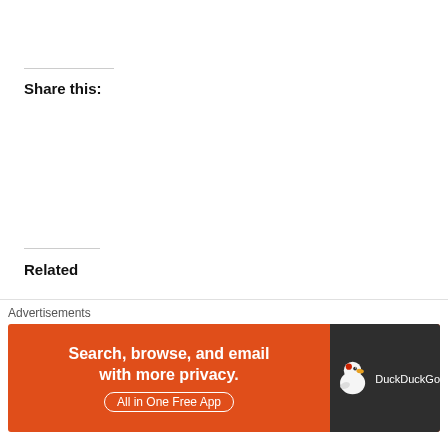Share this:
Related
Final Thoughts on Amazing Arizona Comic Con 2014
January 28, 2014
In "Phoenix Happenings"
The First and Last Phoenix Comic Fest Recap + Gallery
May 28, 2018
In "Phoenix Happenings"
Advertisements
Search, browse, and email with more privacy.
All in One Free App